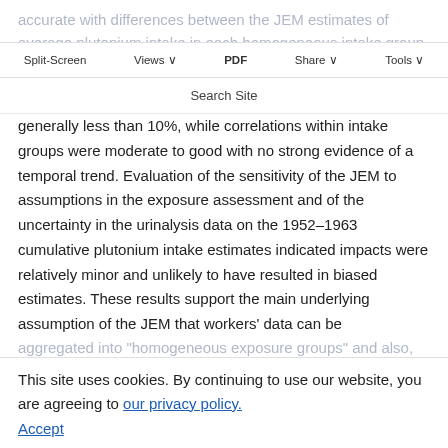accurate with differences between the JEM estimates of average plutonium intake in each homogeneous intake group and measured (from urine samples) intakes generally less than 10%, while correlations within intake groups were moderate to good with no strong evidence of a temporal trend. Evaluation of the sensitivity of the JEM to assumptions in the exposure assessment and of the uncertainty in the urinalysis data on the 1952–1963 cumulative plutonium intake estimates indicated impacts were relatively minor and unlikely to have resulted in biased estimates. These results support the main underlying assumption of the JEM that workers' data can be aggregated into "homogeneous exposure groups" and also, importantly, that the cumulative intakes derived for these workers are of sufficient quality for use in future epidemiological studies, with little evidence of possible bias